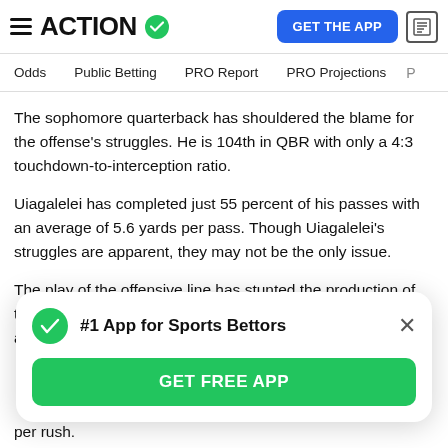ACTION
Odds | Public Betting | PRO Report | PRO Projections
The sophomore quarterback has shouldered the blame for the offense's struggles. He is 104th in QBR with only a 4:3 touchdown-to-interception ratio.
Uiagalelei has completed just 55 percent of his passes with an average of 5.6 yards per pass. Though Uiagalelei's struggles are apparent, they may not be the only issue.
The play of the offensive line has stunted the production of the unit all season long. It was clear in the season opener against the elite Georgia defense when Uiagalelei was
[Figure (infographic): Popup banner: #1 App for Sports Bettors with green checkmark and GET FREE APP green button and close X]
per rush.